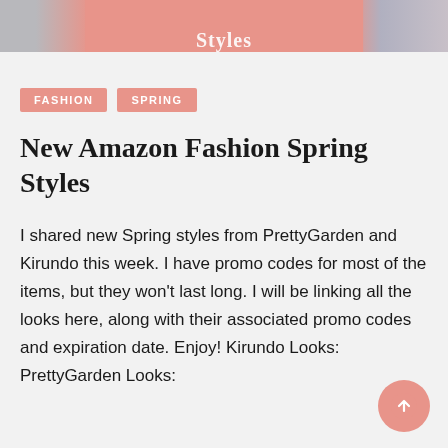[Figure (photo): Header image with salmon/pink overlay banner and partial text 'New Amazon Fashion Styles' in white serif font, with a floral fabric pattern visible on the right side.]
FASHION
SPRING
New Amazon Fashion Spring Styles
I shared new Spring styles from PrettyGarden and Kirundo this week. I have promo codes for most of the items, but they won't last long. I will be linking all the looks here, along with their associated promo codes and expiration date. Enjoy! Kirundo Looks: PrettyGarden Looks: